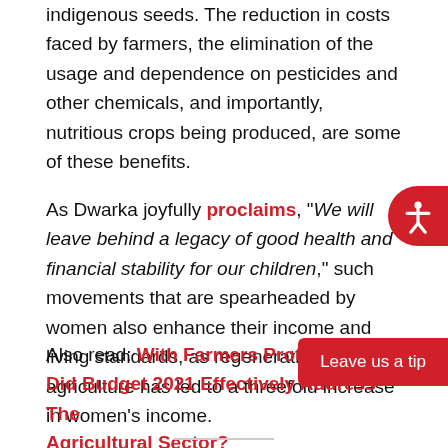indigenous seeds. The reduction in costs faced by farmers, the elimination of the usage and dependence on pesticides and other chemicals, and importantly, nutritious crops being produced, are some of these benefits.
As Dwarka joyfully proclaims, "We will leave behind a legacy of good health and financial stability for our children," such movements that are spearheaded by women also enhance their income and living standards, as regenerative agriculture has led to a threefold increase in women's income.
Also read: With Farmers Protests And... Did Budget 2021 Effectively Address The Agricultural Sector?